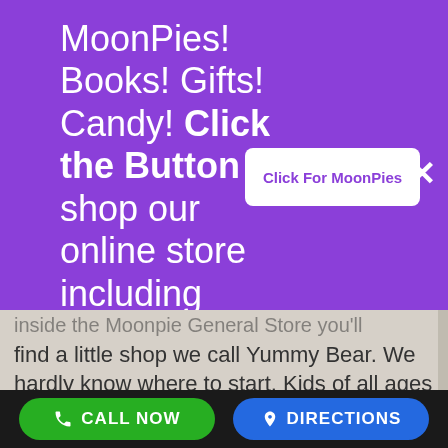MoonPies! Books! Gifts! Candy! Click the Button to shop our online store including bakery fresh MoonPies.
[Figure (other): White button labeled 'Click For MoonPies' with purple text on purple background]
inside the Moonpie General Store you'll find a little shop we call Yummy Bear. We hardly know where to start. Kids of all ages
[Figure (other): Bottom navigation bar with green CALL NOW button and blue DIRECTIONS button]